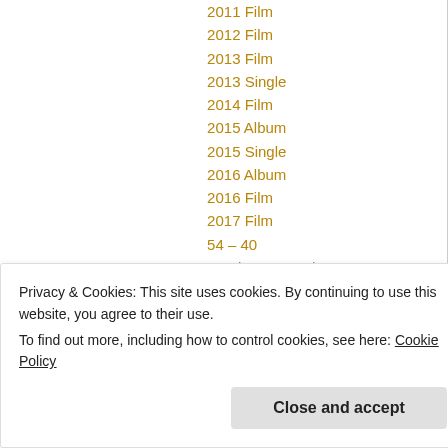2011 Film
2012 Film
2013 Film
2013 Single
2014 Film
2015 Album
2015 Single
2016 Album
2016 Film
2017 Film
54 – 40
Academy Award Nomination
Academy Award Winner
Acoustic
Action Comedy
Action Crime film
Action Drama
Action Film
Adolf Hitler
Privacy & Cookies: This site uses cookies. By continuing to use this website, you agree to their use. To find out more, including how to control cookies, see here: Cookie Policy